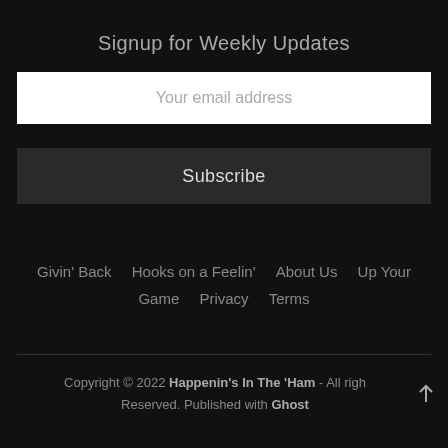Signup for Weekly Updates
Your email address
Subscribe
Givin' Back   Hooks on a Feelin'   About Us   Up Your Game   Privacy   Terms
Copyright © 2022 Happenin's In The 'Ham - All righ Reserved. Published with Ghost